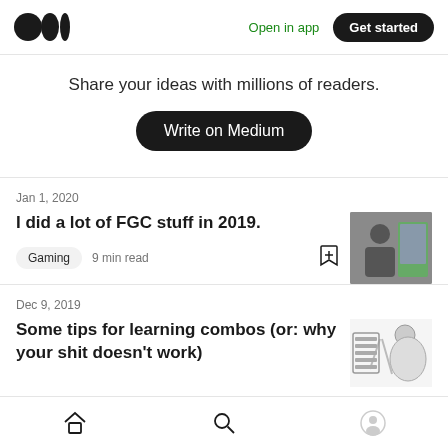Open in app · Get started
Share your ideas with millions of readers.
Write on Medium
Jan 1, 2020
I did a lot of FGC stuff in 2019.
Gaming · 9 min read
Dec 9, 2019
Some tips for learning combos (or: why your shit doesn't work)
Home · Search · Profile